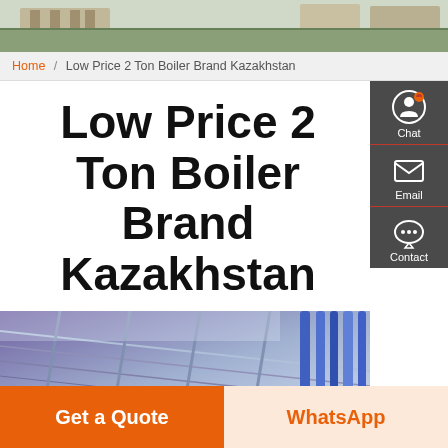[Figure (photo): Aerial/exterior photo of an industrial or commercial building facility, showing parking lots and green lawns.]
Home / Low Price 2 Ton Boiler Brand Kazakhstan
Low Price 2 Ton Boiler Brand Kazakhstan
[Figure (photo): Interior industrial photo showing steel roof structure with pipes and blue/purple colored industrial piping and equipment.]
Get a Quote
WhatsApp